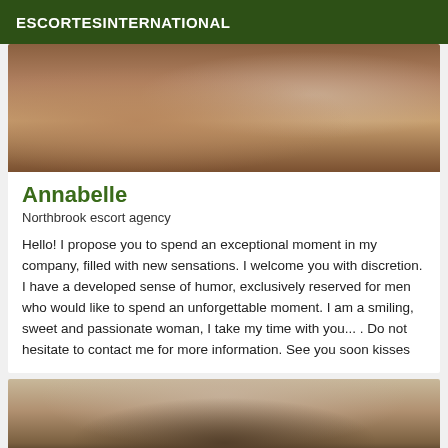ESCORTESINTERNATIONAL
[Figure (photo): Photo of a woman lying on a dark leather couch wearing a white top]
Annabelle
Northbrook escort agency
Hello! I propose you to spend an exceptional moment in my company, filled with new sensations. I welcome you with discretion. I have a developed sense of humor, exclusively reserved for men who would like to spend an unforgettable moment. I am a smiling, sweet and passionate woman, I take my time with you... . Do not hesitate to contact me for more information. See you soon kisses
[Figure (photo): Partial photo showing top of a person's head with dark hair]